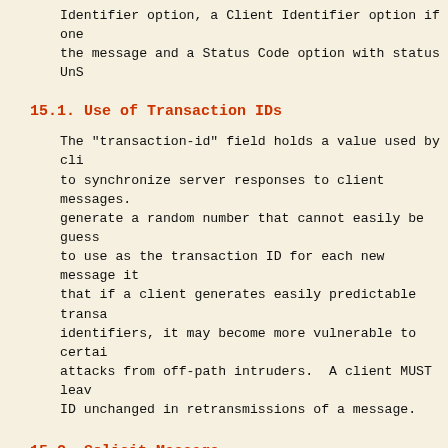Identifier option, a Client Identifier option if one the message and a Status Code option with status UnS
15.1. Use of Transaction IDs
The "transaction-id" field holds a value used by cli to synchronize server responses to client messages. generate a random number that cannot easily be guess to use as the transaction ID for each new message it that if a client generates easily predictable transa identifiers, it may become more vulnerable to certai attacks from off-path intruders. A client MUST leav ID unchanged in retransmissions of a message.
15.2. Solicit Message
Clients MUST discard any received Solicit messages.
Servers MUST discard any Solicit messages that do no Client Identifier option or that do include a Server option.